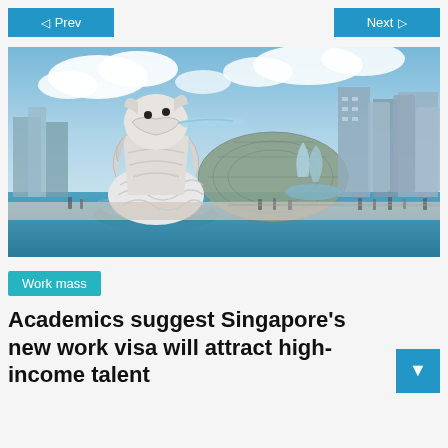Prev   Next
[Figure (photo): Singapore Merlion statue with water spouting from its mouth, in front of the Esplanade dome building and city skyline under a blue sky with white clouds. People visible along the waterfront promenade.]
Work mass
Academics suggest Singapore's new work visa will attract high-income talent